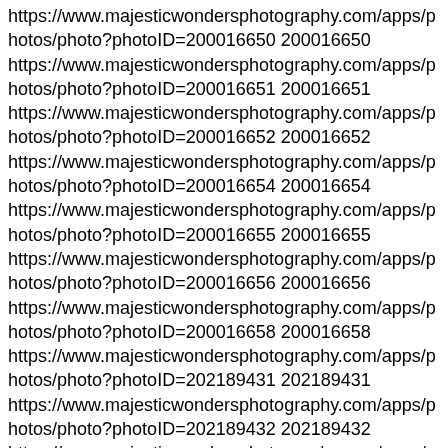https://www.majesticwondersphotography.com/apps/photos/photo?photoID=200016650 200016650
https://www.majesticwondersphotography.com/apps/photos/photo?photoID=200016651 200016651
https://www.majesticwondersphotography.com/apps/photos/photo?photoID=200016652 200016652
https://www.majesticwondersphotography.com/apps/photos/photo?photoID=200016654 200016654
https://www.majesticwondersphotography.com/apps/photos/photo?photoID=200016655 200016655
https://www.majesticwondersphotography.com/apps/photos/photo?photoID=200016656 200016656
https://www.majesticwondersphotography.com/apps/photos/photo?photoID=200016658 200016658
https://www.majesticwondersphotography.com/apps/photos/photo?photoID=202189431 202189431
https://www.majesticwondersphotography.com/apps/photos/photo?photoID=202189432 202189432
https://www.majesticwondersphotography.com/apps/photos/photo?photoID=202189716 202189716
https://www.majesticwondersphotography.com/apps/photos/photo?photoID=202189717 202189717
https://www.majesticwondersphotography.com/apps/photos/photo?photoID=202189718 202189718
https://www.majesticwondersphotography.com/apps/photos/photo?photoID=202189719 202189719